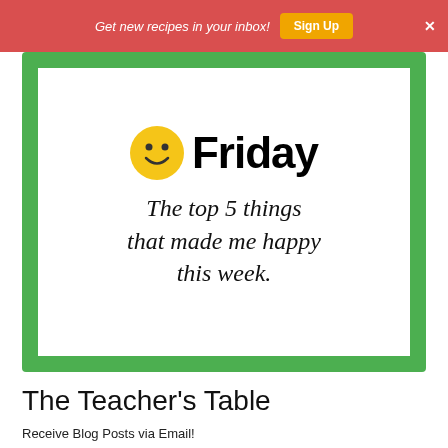Get new recipes in your inbox! Sign Up ×
[Figure (illustration): Green-bordered card with a smiley face icon and 'Friday' heading, containing decorative italic text: 'The top 5 things that made me happy this week.']
The Teacher's Table
Receive Blog Posts via Email!